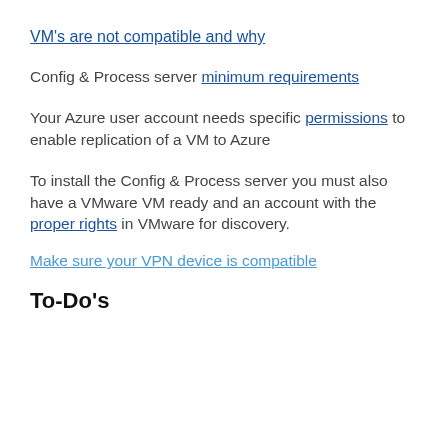VM's are not compatible and why
Config & Process server minimum requirements
Your Azure user account needs specific permissions to enable replication of a VM to Azure
To install the Config & Process server you must also have a VMware VM ready and an account with the proper rights in VMware for discovery.
Make sure your VPN device is compatible
To-Do's